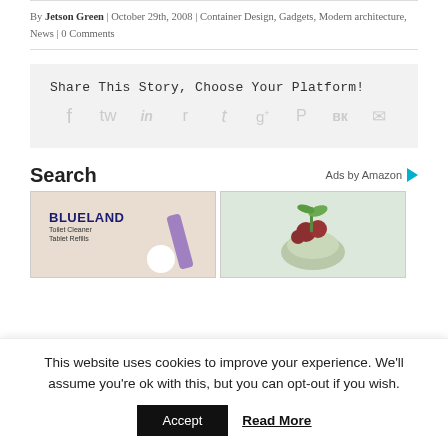By Jetson Green | October 29th, 2008 | Container Design, Gadgets, Modern architecture, News | 0 Comments
Share This Story, Choose Your Platform!
[Figure (infographic): Social sharing icons: Facebook, Twitter, LinkedIn, Reddit, Tumblr, Google+, Pinterest, VK, Email]
Search
Ads by Amazon
[Figure (photo): Blueland Toilet Cleaner Tablet Refills product ad with purple item]
[Figure (photo): Grocery mesh bag with vegetables ad]
This website uses cookies to improve your experience. We'll assume you're ok with this, but you can opt-out if you wish.
Accept
Read More